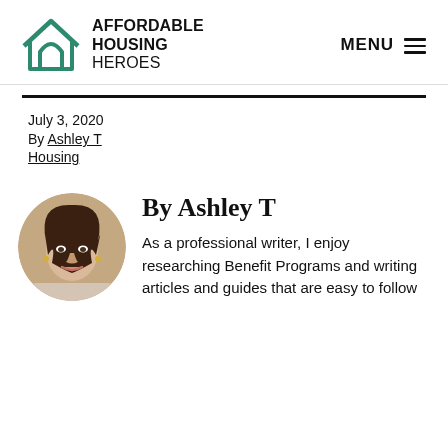AFFORDABLE HOUSING HEROES — MENU
July 3, 2020
By Ashley T
Housing
[Figure (photo): Circular profile photo of Ashley T, a woman with long dark hair]
By Ashley T
As a professional writer, I enjoy researching Benefit Programs and writing articles and guides that are easy to follow